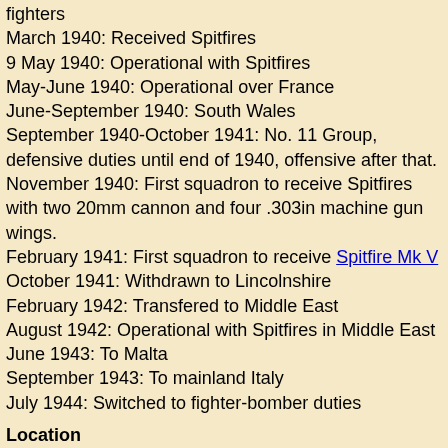fighters
March 1940: Received Spitfires
9 May 1940: Operational with Spitfires
May-June 1940: Operational over France
June-September 1940: South Wales
September 1940-October 1941: No. 11 Group, defensive duties until end of 1940, offensive after that.
November 1940: First squadron to receive Spitfires with two 20mm cannon and four .303in machine gun wings.
February 1941: First squadron to receive Spitfire Mk V
October 1941: Withdrawn to Lincolnshire
February 1942: Transfered to Middle East
August 1942: Operational with Spitfires in Middle East
June 1943: To Malta
September 1943: To mainland Italy
July 1944: Switched to fighter-bomber duties
Location
10 October-30 December 1939: Tangmere
30 December 1939-9 May 1940: Croydon
9-23 May 1940: Northolt
23-25 May 1940: Hornchurch (aircraft only)
25 May-4 June 1940: Duxford (aircraft only)
4-9 June 1940: Northolt
9-18 June 1940: Hornchurch